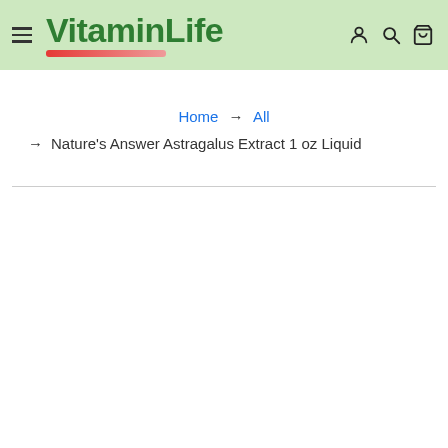[Figure (logo): VitaminLife logo with green bold text and red underline stroke, on light green header background with hamburger menu icon on left and user/search/cart icons on right]
Home → All → Nature's Answer Astragalus Extract 1 oz Liquid